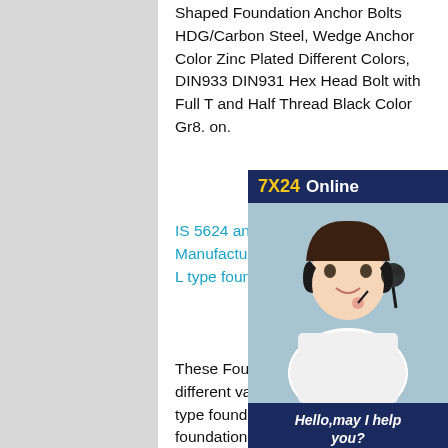Shaped Foundation Anchor Bolts HDG/Carbon Steel, Wedge Anchor Color Zinc Plated Different Colors, DIN933 DIN931 Hex Head Bolt with Full T and Half Thread Black Color Gr8. on.
IS 5624 and DIN 529 Foundation Manufacturer in India Black Car L type foundation bolts L Bolts D
[Figure (other): 7X24 Online customer service advertisement box with photo of woman wearing headset, text 'Hello,may I help you?' and 'Get Latest Price' button]
These Foundation Bolts are avail different variety of types including L type foundation bolts, J Type foundation bolt, anchor nut foundation bolt, Plate type foundation bolts. We manufacture M16 to M72 & 1/2 to 3Foundation bolt as per IS-5624, DIN 267, and DIN 529 or customer